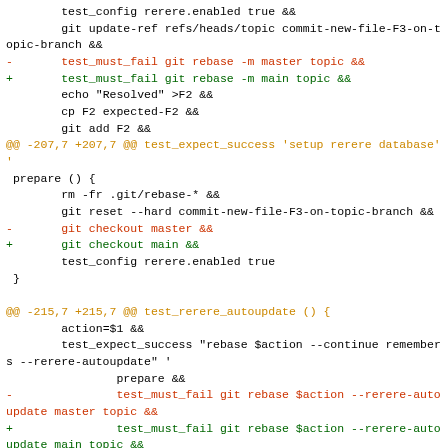Code diff showing git rebase changes replacing 'master' with 'main' branch references in test scripts.